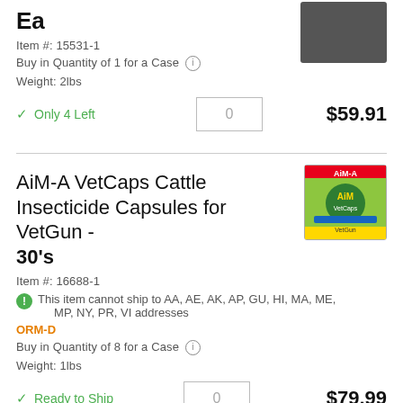Ea
Item #: 15531-1
Buy in Quantity of 1 for a Case
Weight: 2lbs
✓ Only 4 Left
$59.91
AiM-A VetCaps Cattle Insecticide Capsules for VetGun - 30's
Item #: 16688-1
This item cannot ship to AA, AE, AK, AP, GU, HI, MA, ME, MP, NY, PR, VI addresses
ORM-D
Buy in Quantity of 8 for a Case
Weight: 1lbs
✓ Ready to Ship
$79.99